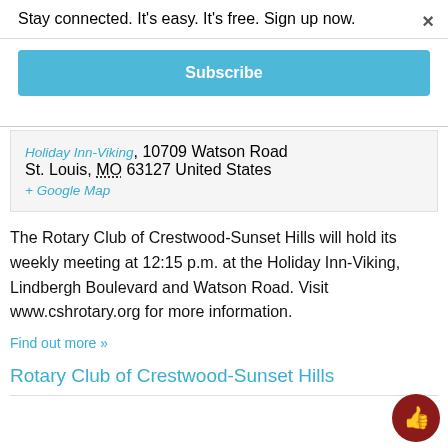Stay connected. It's easy. It's free. Sign up now.
Subscribe
Holiday Inn-Viking, 10709 Watson Road
St. Louis, MO 63127 United States
+ Google Map
The Rotary Club of Crestwood-Sunset Hills will hold its weekly meeting at 12:15 p.m. at the Holiday Inn-Viking, Lindbergh Boulevard and Watson Road. Visit www.cshrotary.org for more information.
Find out more »
Rotary Club of Crestwood-Sunset Hills